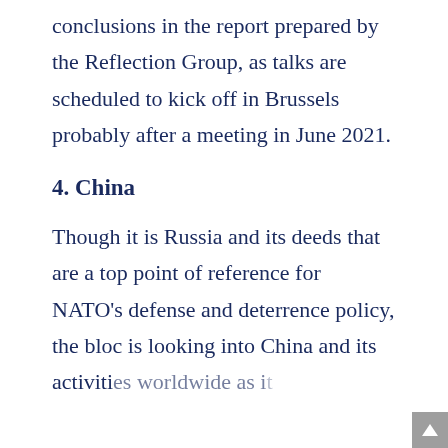conclusions in the report prepared by the Reflection Group, as talks are scheduled to kick off in Brussels probably after a meeting in June 2021.
4. China
Though it is Russia and its deeds that are a top point of reference for NATO's defense and deterrence policy, the bloc is looking into China and its activities worldwide as it...